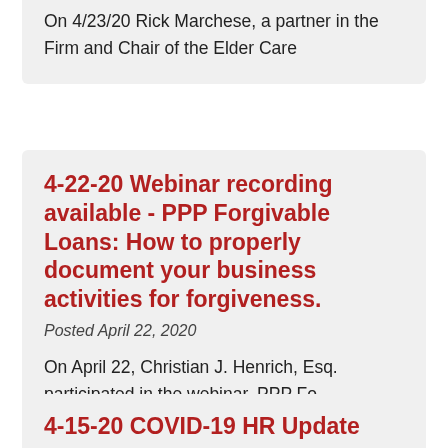On 4/23/20 Rick Marchese, a partner in the Firm and Chair of the Elder Care
4-22-20 Webinar recording available - PPP Forgivable Loans: How to properly document your business activities for forgiveness.
Posted April 22, 2020
On April 22, Christian J. Henrich, Esq. participated in the webinar, PPP Fo
4-15-20 COVID-19 HR Update